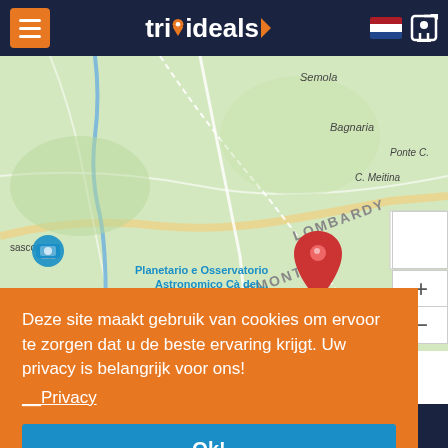[Figure (screenshot): TripIdeals website header navigation bar with hamburger menu, TripIdeals logo, Dutch flag and login icon]
[Figure (map): Google Maps showing Piedmont/Lombardy region in Italy with a red pin marker at Planetario e Osservatorio Astronomico Cà del... Location labels include Semola, Bagnaria, Ponte C., C. Meitina, LOMBARDY, PIEDMONT, sasco]
Deze site maakt gebruik van cookies om ervoor te zorgen dat u de beste ervaring krijgt. Uw privacy is belangrijk voor ons!
Privacy
Ok!
[Figure (logo): TripIdeals logo at bottom of page]